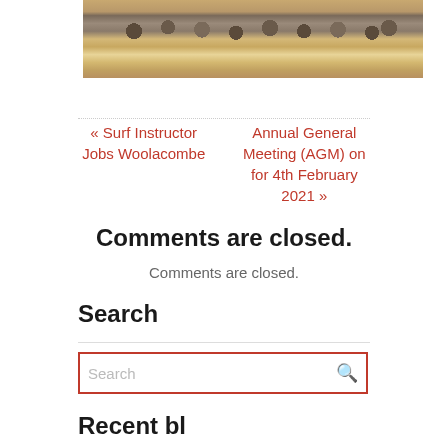[Figure (photo): Crowd of people and dogs on a beach, group photo outdoors on sand]
« Surf Instructor Jobs Woolacombe
Annual General Meeting (AGM) on for 4th February 2021 »
Comments are closed.
Comments are closed.
Search
Search
Recent bl…